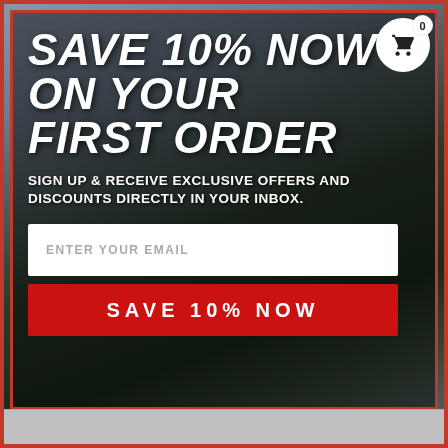[Figure (photo): Woman in gray t-shirt and jeans leaning against a dark classic truck, with license plate visible. Background shows trucks and industrial setting.]
SAVE 10% NOW ON YOUR FIRST ORDER
SIGN UP & RECEIVE EXCLUSIVE OFFERS AND DISCOUNTS DIRECTLY IN YOUR INBOX.
ENTER YOUR EMAIL
SAVE 10% NOW